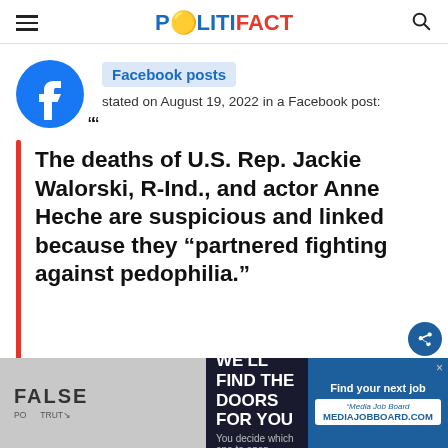POLITIFACT
Facebook posts stated on August 19, 2022 in a Facebook post:
The deaths of U.S. Rep. Jackie Walorski, R-Ind., and actor Anne Heche are suspicious and linked because they “partnered fighting against pedophilia.”
[Figure (screenshot): Bottom strip with FALSE verdict badge, advertisement for job doors, and Media Job Board ad]
WE’LL FIND THE DOORS FOR YOU You decide which one to open | Find your next job Media Job Board